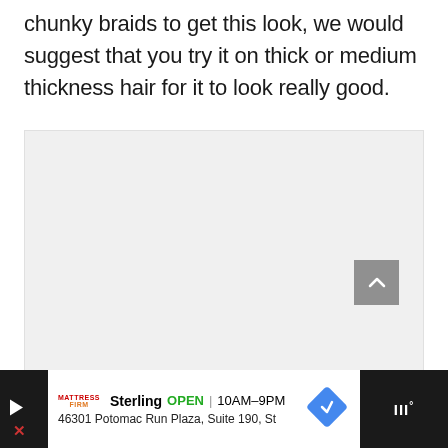chunky braids to get this look, we would suggest that you try it on thick or medium thickness hair for it to look really good.
[Figure (photo): Large image placeholder area with light gray background, a scroll-to-top button in lower right corner]
[Figure (screenshot): Advertisement bar at bottom: Mattress Firm ad showing Sterling location, OPEN 10AM-9PM, 46301 Potomac Run Plaza, Suite 190, St]